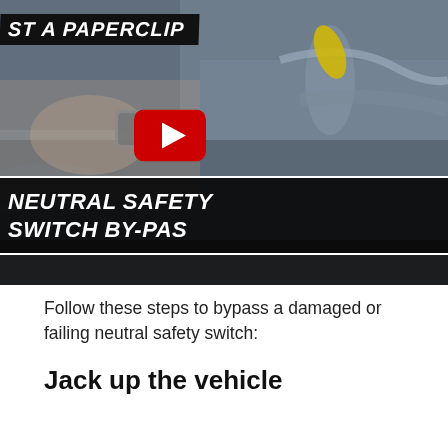[Figure (screenshot): YouTube video thumbnail showing a person's hands working on a vehicle engine/wiring, with overlaid text banners reading 'ST A PAPERCLIP' at top and 'NEUTRAL SAFETY SWITCH BY-PAS' at bottom, and a YouTube play button in the center.]
Follow these steps to bypass a damaged or failing neutral safety switch:
Jack up the vehicle